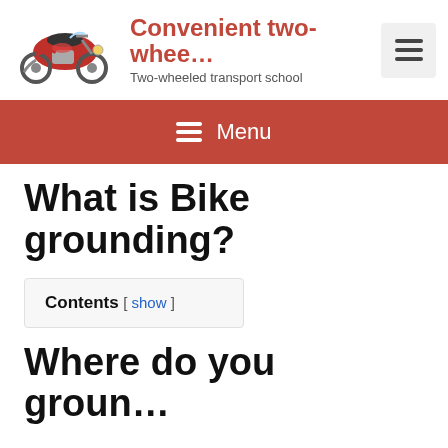[Figure (logo): Red vintage motorcycle illustration used as site logo]
Convenient two-whee...
Two-wheeled transport school
[Figure (other): Hamburger menu toggle button]
≡ Menu
What is Bike grounding?
Contents [ show ]
Where do you grou...